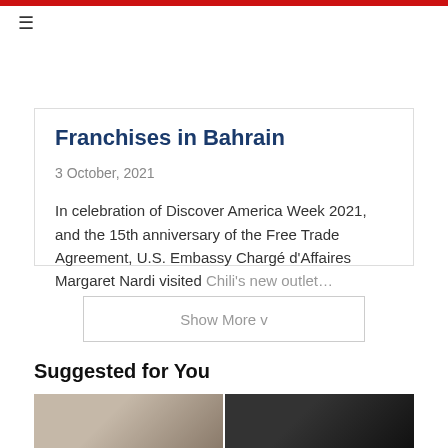≡
Franchises in Bahrain
3 October, 2021
In celebration of Discover America Week 2021, and the 15th anniversary of the Free Trade Agreement, U.S. Embassy Chargé d'Affaires Margaret Nardi visited Chili's new outlet…
Show More v
Suggested for You
[Figure (photo): Two thumbnail images at the bottom of the page, left showing a lighter-toned indoor scene, right showing a dark scene.]